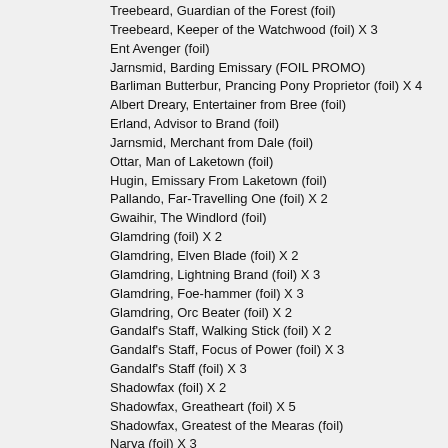Treebeard, Guardian of the Forest (foil)
Treebeard, Keeper of the Watchwood (foil) X 3
Ent Avenger (foil)
Jarnsmid, Barding Emissary (FOIL PROMO)
Barliman Butterbur, Prancing Pony Proprietor (foil) X 4
Albert Dreary, Entertainer from Bree (foil)
Erland, Advisor to Brand (foil)
Jarnsmid, Merchant from Dale (foil)
Ottar, Man of Laketown (foil)
Hugin, Emissary From Laketown (foil)
Pallando, Far-Travelling One (foil) X 2
Gwaihir, The Windlord (foil)
Glamdring (foil) X 2
Glamdring, Elven Blade (foil) X 2
Glamdring, Lightning Brand (foil) X 3
Glamdring, Foe-hammer (foil) X 3
Glamdring, Orc Beater (foil) X 2
Gandalf's Staff, Walking Stick (foil) X 2
Gandalf's Staff, Focus of Power (foil) X 3
Gandalf's Staff (foil) X 3
Shadowfax (foil) X 2
Shadowfax, Greatheart (foil) X 5
Shadowfax, Greatest of the Mearas (foil)
Narya (foil) X 3
Wizard Staff (ROTK FOIL) X 2
Wizard Staff (MOM FOIL) X 3
Gandalf's Pipe (foil) X 2
Gandalf's Cart (foil) X 2
Trust Me As You Once Did (foil) X 5
Ent Moot (foil) X 4
Enraged (foil) X 2
Behold the White Rider (foil)
Gandalf's Wisdom (foil) X 2
Moment of Respite (foil) X 2
Brooding On Tomorrow (foil) X